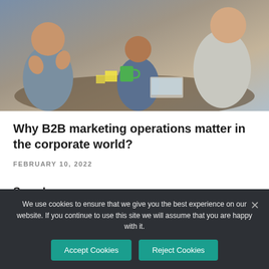[Figure (photo): Business meeting scene showing people sitting around a table, gesturing and discussing, with laptops, notebooks, sticky notes, and a green mug visible.]
Why B2B marketing operations matter in the corporate world?
FEBRUARY 10, 2022
Search
We use cookies to ensure that we give you the best experience on our website. If you continue to use this site we will assume that you are happy with it.